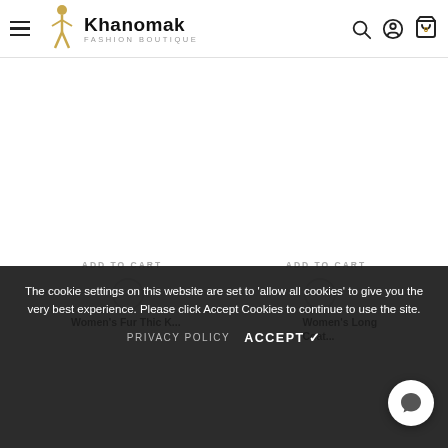Khanomak FASHION BOUTIQUE — navigation header with hamburger menu, logo, search, account, and cart icons
[Figure (screenshot): Large white blank product image area below the header]
ADD TO CART  ADD TO CART
[Figure (illustration): Two circular color swatch selectors for product variants]
Women's Fur Thic K... Women's Long Coat...
The cookie settings on this website are set to 'allow all cookies' to give you the very best experience. Please click Accept Cookies to continue to use the site.
PRIVACY POLICY  ACCEPT ✓